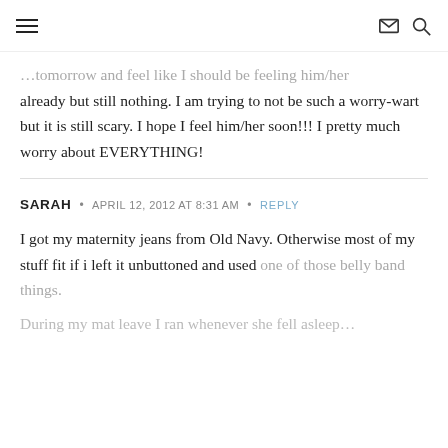Navigation menu, envelope icon, search icon
…tomorrow and feel like I should be feeling him/her already but still nothing. I am trying to not be such a worry-wart but it is still scary. I hope I feel him/her soon!!! I pretty much worry about EVERYTHING!
SARAH • APRIL 12, 2012 AT 8:31 AM • REPLY
I got my maternity jeans from Old Navy. Otherwise most of my stuff fit if i left it unbuttoned and used one of those belly band things.
During my mat leave I ran whenever she fell asleep…